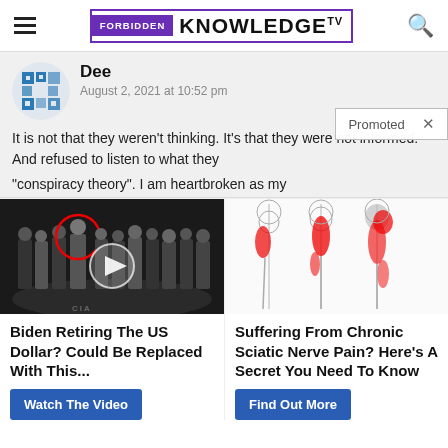Forbidden Knowledge TV
Dee
August 2, 2021 at 10:52 pm
It is not that they weren't thinking. It's that they were not informed. And refused to listen to what they called a "conspiracy theory". I am heartbroken as my...
Promoted
[Figure (photo): Group of men in suits standing at CIA headquarters with a circle highlighting one person, video play button overlay]
Biden Retiring The US Dollar? Could Be Replaced With This...
Watch The Video
[Figure (illustration): Medical illustration showing human legs with sciatic nerve pain highlighted in red at multiple points along the leg]
Suffering From Chronic Sciatic Nerve Pain? Here's A Secret You Need To Know
Find Out More